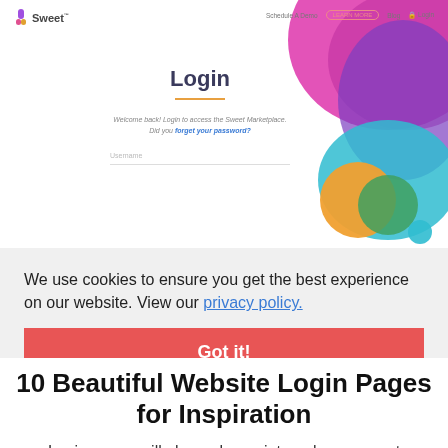[Figure (screenshot): Sweet marketplace website login page screenshot showing colorful blob decorations in top right corner, Sweet logo in top left, navigation bar, Login heading with orange underline, subtitle text 'Welcome back! Login to access the Sweet Marketplace. Did you forget your password?' and an email input field]
We use cookies to ensure you get the best experience on our website. View our privacy policy.
Got it!
10 Beautiful Website Login Pages for Inspiration
Login pages will always be an integral component